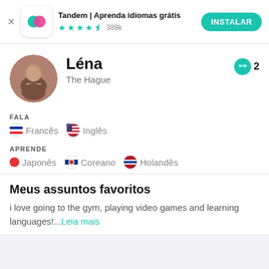[Figure (screenshot): Tandem app advertisement banner with logo, star rating, and install button]
Tandem | Aprenda idiomas grátis
★★★★½ 389k
INSTALAR
[Figure (photo): Circular profile photo of Léna]
Léna
The Hague
2
FALA
Francês  Inglês
APRENDE
Japonês  Coreano  Holandês
Meus assuntos favoritos
i love going to the gym, playing video games and learning languages!...Leia mais